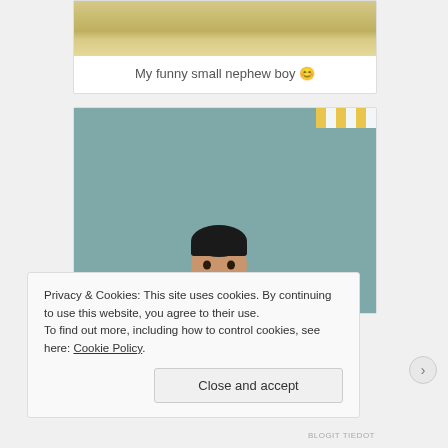[Figure (photo): Top portion of a photo showing objects on a wooden floor, partially cropped.]
My funny small nephew boy 🙂
[Figure (photo): Photo of a smiling young boy peeking up from the bottom of the frame against a teal-blue wall background, with yellow polka-dot bunting visible in the top right corner.]
Privacy & Cookies: This site uses cookies. By continuing to use this website, you agree to their use.
To find out more, including how to control cookies, see here: Cookie Policy
Close and accept